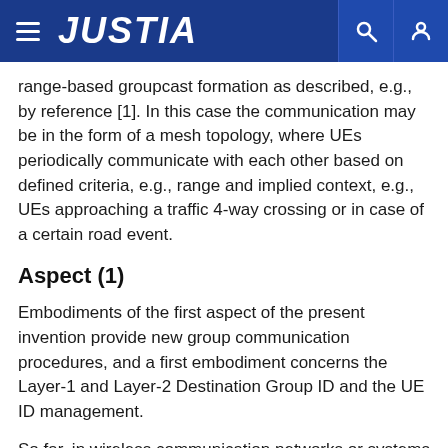JUSTIA
range-based groupcast formation as described, e.g., by reference [1]. In this case the communication may be in the form of a mesh topology, where UEs periodically communicate with each other based on defined criteria, e.g., range and implied context, e.g., UEs approaching a traffic 4-way crossing or in case of a certain road event.
Aspect (1)
Embodiments of the first aspect of the present invention provide new group communication procedures, and a first embodiment concerns the Layer-1 and Layer-2 Destination Group ID and the UE ID management.
So far, in wireless communication networks or systems the 3GPP layer is agnostic to the existence of a group such as a V2X platoon. If desired, e.g., for optimized operations, a separation of the traffic from different